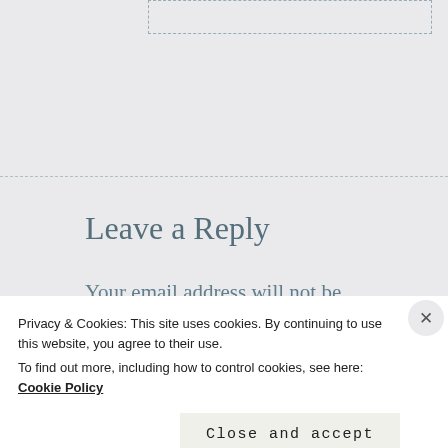[Figure (screenshot): Dotted border input box at top of page, partially visible]
Leave a Reply
Your email address will not be published. Required fields are marked *
Comment *
Privacy & Cookies: This site uses cookies. By continuing to use this website, you agree to their use.
To find out more, including how to control cookies, see here: Cookie Policy
Close and accept
[Figure (screenshot): Bottom ad bar with red background on left and DuckDuckGo dark bar on right]